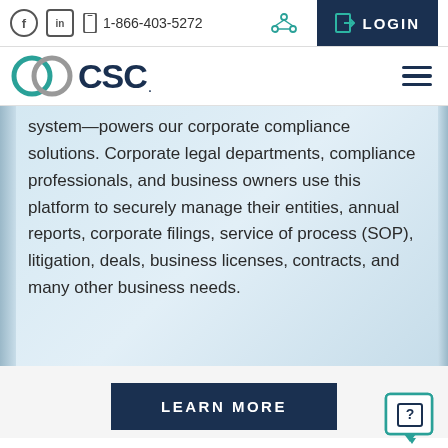1-866-403-5272  LOGIN
[Figure (logo): CSC logo with two interlocking circles in teal and gray, followed by bold dark blue text 'CSC']
system—powers our corporate compliance solutions. Corporate legal departments, compliance professionals, and business owners use this platform to securely manage their entities, annual reports, corporate filings, service of process (SOP), litigation, deals, business licenses, contracts, and many other business needs.
LEARN MORE